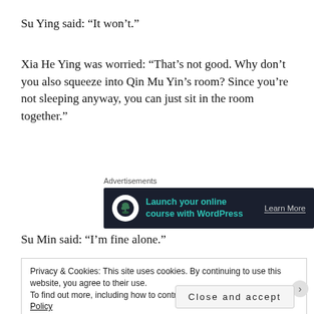Su Ying said: “It won’t.”
Xia He Ying was worried: “That’s not good. Why don’t you also squeeze into Qin Mu Yin’s room? Since you’re not sleeping anyway, you can just sit in the room together.”
[Figure (other): Advertisement banner: dark background with tree/bonsai icon, text 'Launch your online course with WordPress', 'Learn More' button]
Su Min said: “I’m fine alone.”
Privacy & Cookies: This site uses cookies. By continuing to use this website, you agree to their use.
To find out more, including how to control cookies, see here: Cookie Policy
Close and accept